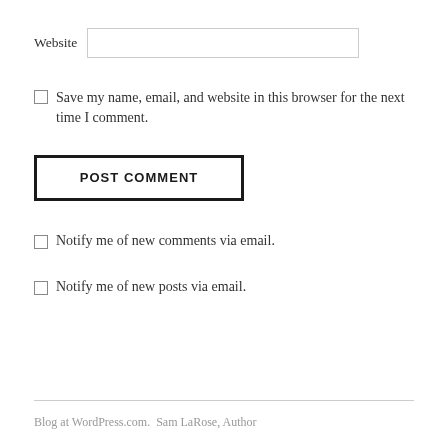Website
Save my name, email, and website in this browser for the next time I comment.
POST COMMENT
Notify me of new comments via email.
Notify me of new posts via email.
Blog at WordPress.com.  Sam LaRose, Author